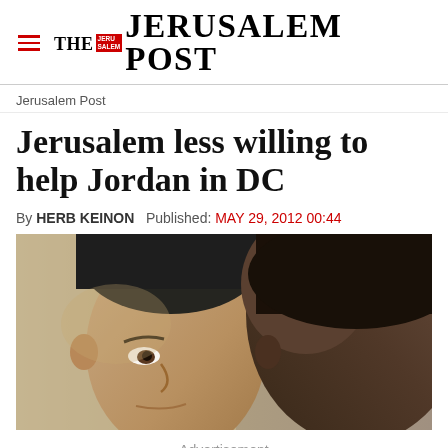THE JERUSALEM POST
Jerusalem Post
Jerusalem less willing to help Jordan in DC
By HERB KEINON   Published: MAY 29, 2012 00:44
[Figure (photo): Close-up photo of two men's faces, one facing left and one shown in profile from behind, in a formal setting]
Advertisement